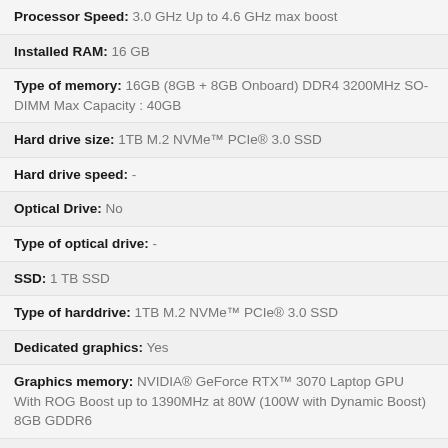Processor Speed: 3.0 GHz Up to 4.6 GHz max boost
Installed RAM: 16 GB
Type of memory: 16GB (8GB + 8GB Onboard) DDR4 3200MHz SO-DIMM Max Capacity : 40GB
Hard drive size: 1TB M.2 NVMe™ PCIe® 3.0 SSD
Hard drive speed: -
Optical Drive: No
Type of optical drive: -
SSD: 1 TB SSD
Type of harddrive: 1TB M.2 NVMe™ PCIe® 3.0 SSD
Dedicated graphics: Yes
Graphics memory: NVIDIA® GeForce RTX™ 3070 Laptop GPU With ROG Boost up to 1390MHz at 80W (100W with Dynamic Boost) 8GB GDDR6
Type of graphics memory: Dedicated
Switchable graphics: Yes
Graphics processor: AMD
Backlight: LED